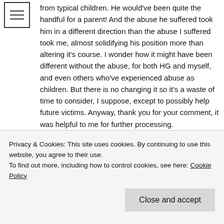[Figure (other): Hamburger menu icon — three horizontal lines inside a square border]
from typical children. He would've been quite the handful for a parent! And the abuse he suffered took him in a different direction than the abuse I suffered took me, almost solidifying his position more than altering it's course. I wonder how it might have been different without the abuse, for both HG and myself, and even others who've experienced abuse as children. But there is no changing it so it's a waste of time to consider, I suppose, except to possibly help future victims. Anyway, thank you for your comment, it was helpful to me for further processing.
Privacy & Cookies: This site uses cookies. By continuing to use this website, you agree to their use.
To find out more, including how to control cookies, see here: Cookie Policy
Close and accept